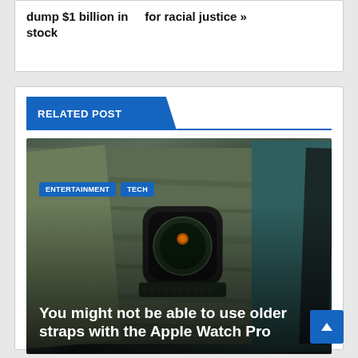dump $1 billion in stock   for racial justice »
RELATED POST
[Figure (photo): Apple Watch with green and olive colored straps laid on a wooden surface]
You might not be able to use older straps with the Apple Watch Pro